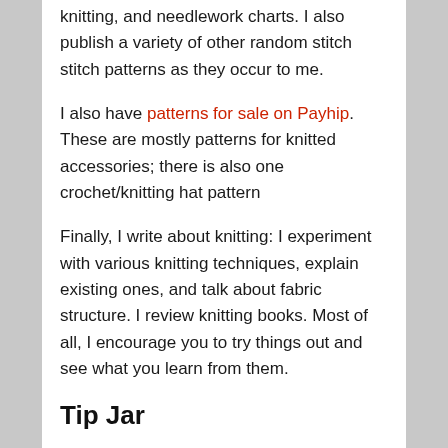knitting, and needlework charts. I also publish a variety of other random stitch stitch patterns as they occur to me.
I also have patterns for sale on Payhip. These are mostly patterns for knitted accessories; there is also one crochet/knitting hat pattern
Finally, I write about knitting: I experiment with various knitting techniques, explain existing ones, and talk about fabric structure. I review knitting books. Most of all, I encourage you to try things out and see what you learn from them.
Tip Jar
If you would like to donate monthly, you may